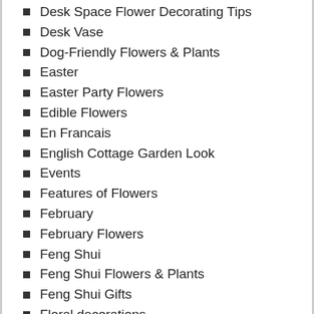Desk Space Flower Decorating Tips
Desk Vase
Dog-Friendly Flowers & Plants
Easter
Easter Party Flowers
Edible Flowers
En Francais
English Cottage Garden Look
Events
Features of Flowers
February
February Flowers
Feng Shui
Feng Shui Flowers & Plants
Feng Shui Gifts
Floral decorations
Floral Home Décor Ideas